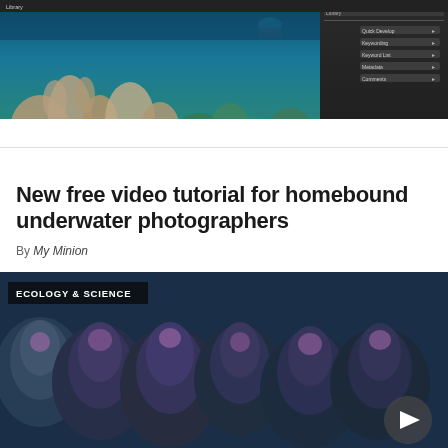[Figure (screenshot): Screenshot of underwater photography image of coral reef with diver, shown in a photo editing software interface with dark panel on the right side showing panels like Quick Develop, Keywording, Keyword List, Metadata, Comments]
New free video tutorial for homebound underwater photographers
By My Minion
[Figure (photo): Close-up underwater photo of coral formations with purple and green tones, with ECOLOGY & SCIENCE label overlay in upper left and a play button icon in lower right]